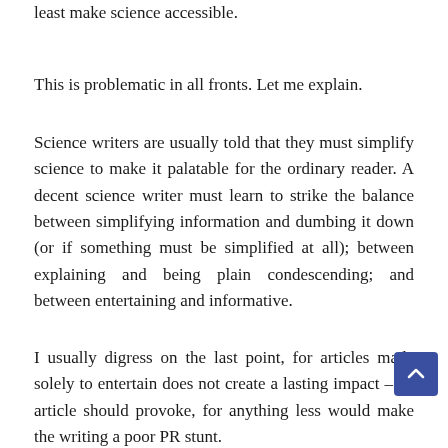least make science accessible.
This is problematic in all fronts. Let me explain.
Science writers are usually told that they must simplify science to make it palatable for the ordinary reader. A decent science writer must learn to strike the balance between simplifying information and dumbing it down (or if something must be simplified at all); between explaining and being plain condescending; and between entertaining and informative.
I usually digress on the last point, for articles made solely to entertain does not create a lasting impact – an article should provoke, for anything less would make the writing a poor PR stunt.